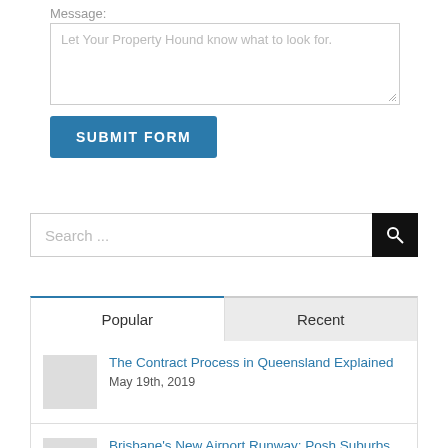Message:
Let Your Property Hound know what to look for.
SUBMIT FORM
Search ...
Popular
Recent
The Contract Process in Queensland Explained
May 19th, 2019
Brisbane's New Airport Runway: Posh Suburbs Set to Suffer